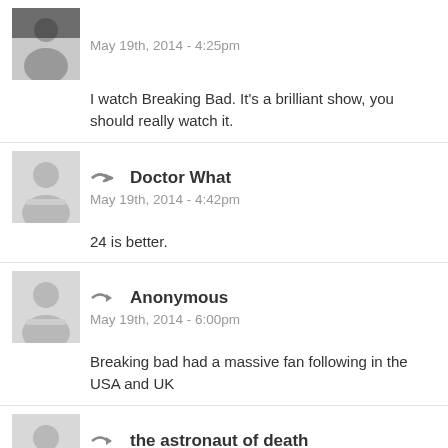May 19th, 2014 - 4:25pm
I watch Breaking Bad. It's a brilliant show, you should really watch it.
Doctor What
May 19th, 2014 - 4:42pm
24 is better.
Anonymous
May 19th, 2014 - 6:00pm
Breaking bad had a massive fan following in the USA and UK
the astronaut of death
May 19th, 2014 - 6:11pm
thanks for the recommendation scotts tardis!
I might watch it but I think it may be a bit to old for me
Valeyard
May 19th, 2014 - 11:46pm
I agree that 24 is better, but Breaking Bad is fantastic